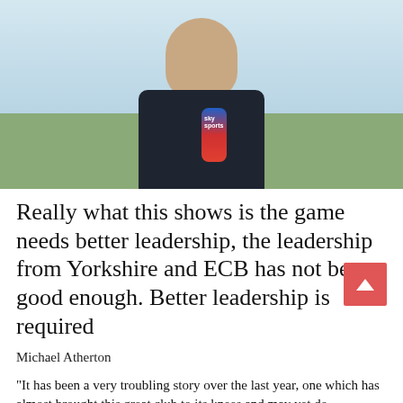[Figure (photo): A man in a dark shirt being interviewed outdoors, holding a Sky Sports microphone, with a waterfront and minaret visible in the background.]
Really what this shows is the game needs better leadership, the leadership from Yorkshire and ECB has not been good enough. Better leadership is required
Michael Atherton
“It has been a very troubling story over the last year, one which has almost brought this great club to its knees and may yet do